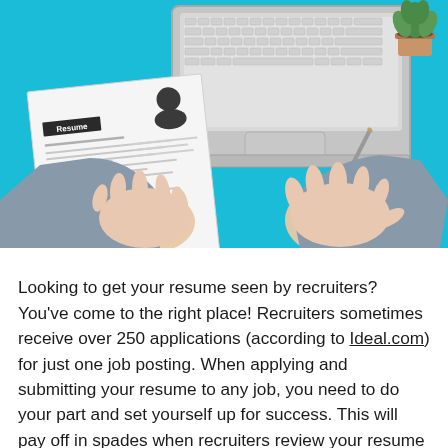[Figure (photo): Overhead/top-down photo of a person's hands on a bright blue desk — left hand holding a resume document with a black 'Resume' label and a profile photo placeholder, right hand resting on a laptop keyboard. A small green succulent plant is visible in the top-right corner and a pen/pencil lies diagonally on the desk.]
Looking to get your resume seen by recruiters? You've come to the right place! Recruiters sometimes receive over 250 applications (according to Ideal.com) for just one job posting. When applying and submitting your resume to any job, you need to do your part and set yourself up for success. This will pay off in spades when recruiters review your resume and quickly flag it for